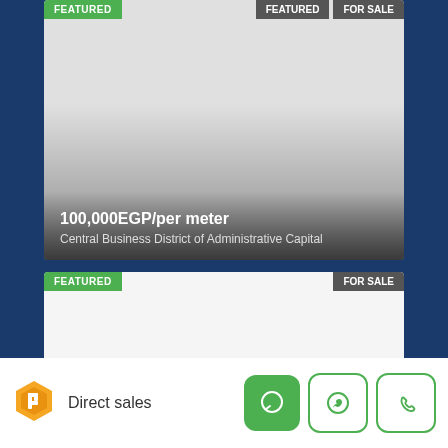[Figure (screenshot): Real estate listing card with gray gradient image area, FEATURED green badge top-left, two dark badges top-right, price overlay at bottom showing 100,000EGP/per meter and location Central Business District of Administrative Capital]
100,000EGP/per meter
Central Business District of Administrative Capital
[Figure (screenshot): Second real estate listing card with white/empty image area, FEATURED green badge top-left, FOR SALE dark badge top-right]
FEATURED
FOR SALE
[Figure (logo): Orange hexagonal logo icon]
Direct sales